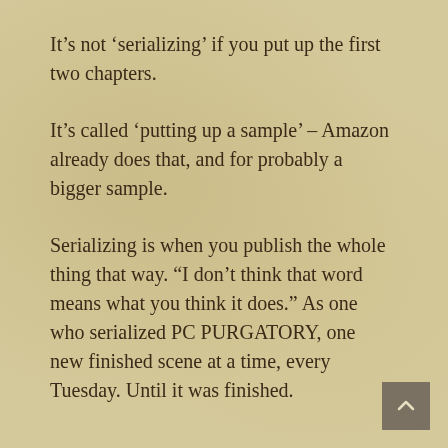It’s not ‘serializing’ if you put up the first two chapters.
It’s called ‘putting up a sample’ – Amazon already does that, and for probably a bigger sample.
Serializing is when you publish the whole thing that way. “I don’t think that word means what you think it does.” As one who serialized PC PURGATORY, one new finished scene at a time, every Tuesday. Until it was finished.